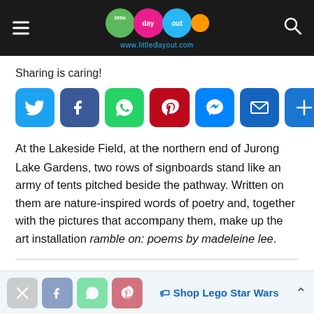[Figure (logo): Little Day Out logo with colorful bubbles and www.littledayout.com URL on dark header bar]
Sharing is caring!
[Figure (infographic): Row of social sharing buttons: Twitter, Facebook, WhatsApp, Pinterest, Messenger, Email, More]
At the Lakeside Field, at the northern end of Jurong Lake Gardens, two rows of signboards stand like an army of tents pitched beside the pathway. Written on them are nature-inspired words of poetry and, together with the pictures that accompany them, make up the art installation ramble on: poems by madeleine lee.
[Figure (infographic): Bottom floating share bar with social icons and Shop Lego Star Wars text]